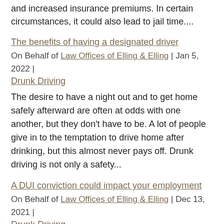and increased insurance premiums. In certain circumstances, it could also lead to jail time....
The benefits of having a designated driver
On Behalf of Law Offices of Elling & Elling | Jan 5, 2022 | Drunk Driving
The desire to have a night out and to get home safely afterward are often at odds with one another, but they don't have to be. A lot of people give in to the temptation to drive home after drinking, but this almost never pays off. Drunk driving is not only a safety...
A DUI conviction could impact your employment
On Behalf of Law Offices of Elling & Elling | Dec 13, 2021 | Drunk Driving
Being arrested for a DUI offense can cause significant worry for those on the receiving end. Not only might the initial arrest